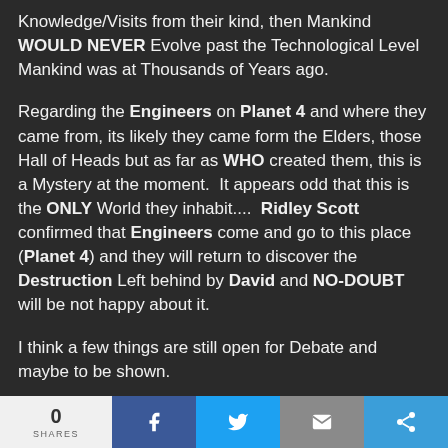Knowledge/Visits from their kind, then Mankind WOULD NEVER Evolve past the Technological Level Mankind was at Thousands of Years ago.
Regarding the Engineers on Planet 4 and where they came from, its likely they came form the Elders, those Hall of Heads but as far as WHO created them, this is a Mystery at the moment.  It appears odd that this is the ONLY World they inhabit....  Ridley Scott confirmed that Engineers come and go to this place (Planet 4) and they will return to discover the Destruction Left behind by David and NO-DOUBT will be not happy about it.
I think a few things are still open for Debate and maybe to be shown.
*Its unlikely Earth was the only World they invested time in to Evolve Humanoid Races.
[Figure (infographic): Social sharing footer bar with share count (0 SHARES), Facebook, Twitter, email, and additional share buttons]